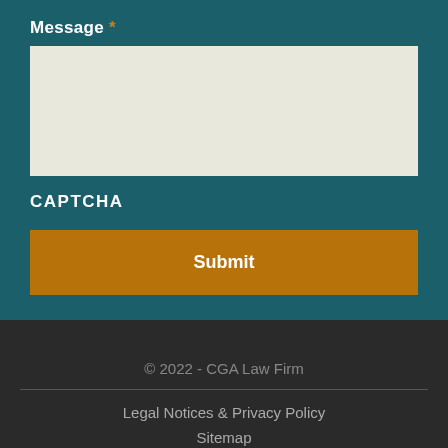Message *
[Figure (screenshot): Message text area input field with light beige/cream background]
CAPTCHA
Submit
© 2022 - CGA Law Firm
Legal Notices & Privacy Policy
Sitemap